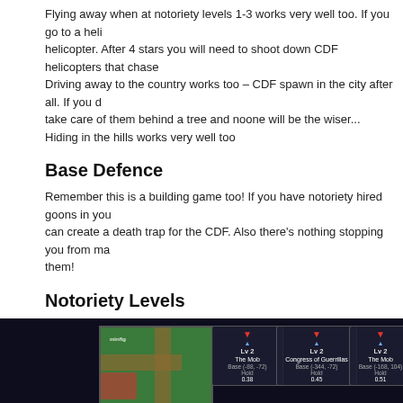Flying away when at notoriety levels 1-3 works very well too. If you go to a helicopter. After 4 stars you will need to shoot down CDF helicopters that chase. Driving away to the country works too – CDF spawn in the city after all. If you take care of them behind a tree and noone will be the wiser... Hiding in the hills works very well too
Base Defence
Remember this is a building game too! If you have notoriety hired goons in you can create a death trap for the CDF. Also there's nothing stopping you from ma them!
Notoriety Levels
[Figure (screenshot): Game screenshot showing a top-down map view with faction HUD panels (Lv 2 The Mob, Congress of Guerrillas, The Mob) with base coordinates and hold values, star rating row, mission panel for Armoured Contract with checklist, UNDER ARREST overlay, and LOW RP indicator.]